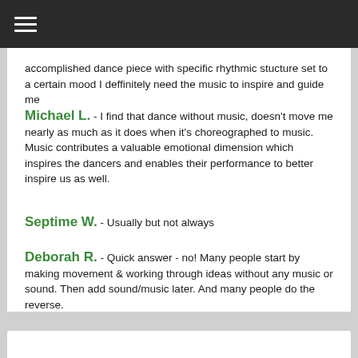accomplished dance piece with specific rhythmic stucture set to a certain mood I deffinitely need the music to inspire and guide me
Michael L. - I find that dance without music, doesn't move me nearly as much as it does when it's choreographed to music. Music contributes a valuable emotional dimension which inspires the dancers and enables their performance to better inspire us as well.
Septime W. - Usually but not always
Deborah R. - Quick answer - no! Many people start by making movement & working through ideas without any music or sound. Then add sound/music later. And many people do the reverse.
Irina W. - Yes. In classical ballet it is impossible to make dance without music which give the movement phrasing a fundamental structure, flow and mood. Music helps both - the choreographer and the dancer.